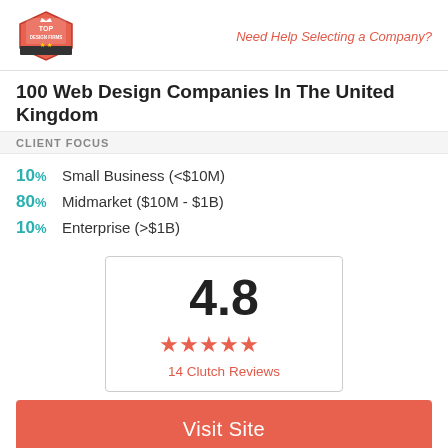Top Design Firms logo | Need Help Selecting a Company?
100 Web Design Companies In The United Kingdom
CLIENT FOCUS
10% Small Business (<$10M)
80% Midmarket ($10M - $1B)
10% Enterprise (>$1B)
[Figure (infographic): Rating box showing 4.8 score with 5 red stars and '14 Clutch Reviews' text]
Visit Site